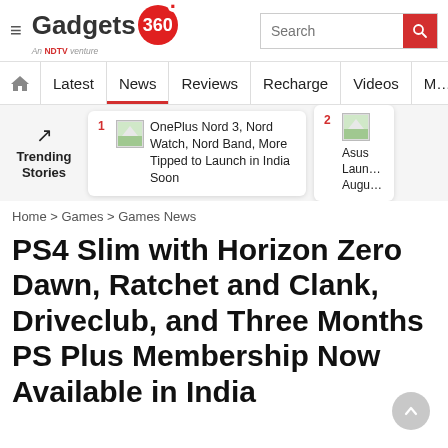Gadgets 360 — An NDTV venture | Search bar
Latest | News | Reviews | Recharge | Videos | M…
Trending Stories — 1. OnePlus Nord 3, Nord Watch, Nord Band, More Tipped to Launch in India Soon | 2. Asus Laun… Augu…
Home > Games > Games News
PS4 Slim with Horizon Zero Dawn, Ratchet and Clank, Driveclub, and Three Months PS Plus Membership Now Available in India